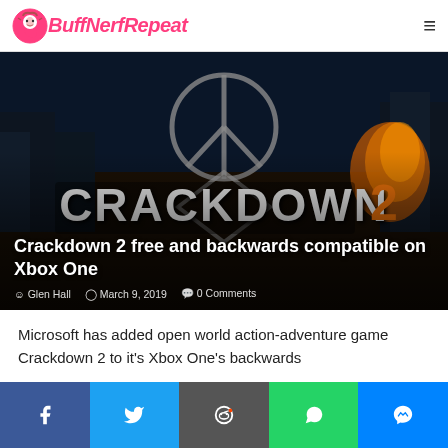BuffNerfRepeat
[Figure (screenshot): Crackdown 2 game promotional image with title overlay, article headline 'Crackdown 2 free and backwards compatible on Xbox One', author Glen Hall, date March 9, 2019, 0 Comments]
Microsoft has added open world action-adventure game Crackdown 2 to it's Xbox One's backwards